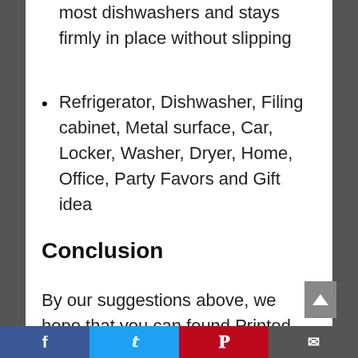most dishwashers and stays firmly in place without slipping
Refrigerator, Dishwasher, Filing cabinet, Metal surface, Car, Locker, Washer, Dryer, Home, Office, Party Favors and Gift idea
Conclusion
By our suggestions above, we hope that you can found Printed Refrigerator Magnet for you.Please don't forget to share your experience by comment in this post. Thank you!
Facebook | Twitter | Pinterest | Email